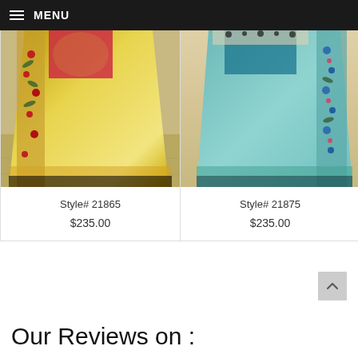MENU
[Figure (photo): Yellow floral embroidered saree worn by a model]
Style# 21865
$235.00
[Figure (photo): Teal/light blue floral embroidered saree worn by a model]
Style# 21875
$235.00
Our Reviews on :